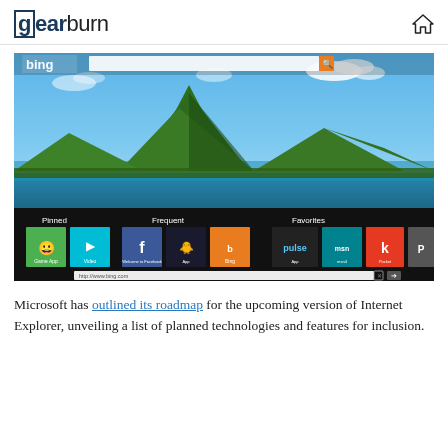gearburn
[Figure (screenshot): Screenshot of Internet Explorer 10 browser in Windows 8 style UI showing Bing homepage with a tropical island (Bora Bora) landscape photo, with Pinned, Frequent, and Favorites tiles below including Facebook, Vimeo, Bing, Pulse, MSN, and other site tiles, and URL bar showing http://www.bing.com]
Microsoft has outlined its roadmap for the upcoming version of Internet Explorer, unveiling a list of planned technologies and features for inclusion.